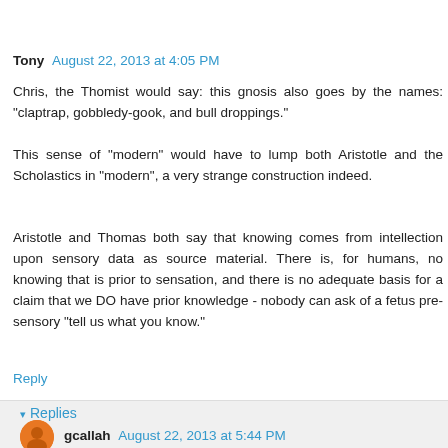Tony  August 22, 2013 at 4:05 PM
Chris, the Thomist would say: this gnosis also goes by the names: "claptrap, gobbledy-gook, and bull droppings."
This sense of "modern" would have to lump both Aristotle and the Scholastics in "modern", a very strange construction indeed.
Aristotle and Thomas both say that knowing comes from intellection upon sensory data as source material. There is, for humans, no knowing that is prior to sensation, and there is no adequate basis for a claim that we DO have prior knowledge - nobody can ask of a fetus pre-sensory "tell us what you know."
Reply
Replies
gcallah  August 22, 2013 at 5:44 PM